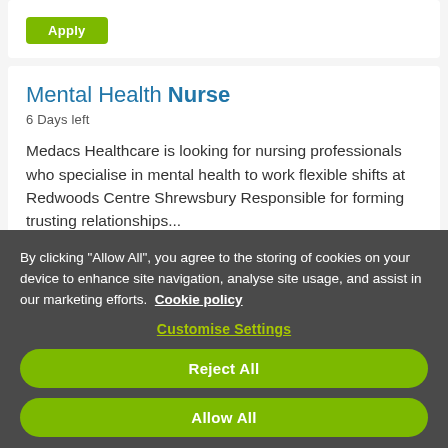[Figure (screenshot): Green Apply button at top of job listing card]
Mental Health Nurse
6 Days left
Medacs Healthcare is looking for nursing professionals who specialise in mental health to work flexible shifts at Redwoods Centre Shrewsbury Responsible for forming trusting relationships...
By clicking "Allow All", you agree to the storing of cookies on your device to enhance site navigation, analyse site usage, and assist in our marketing efforts. Cookie policy
Customise Settings
Reject All
Allow All